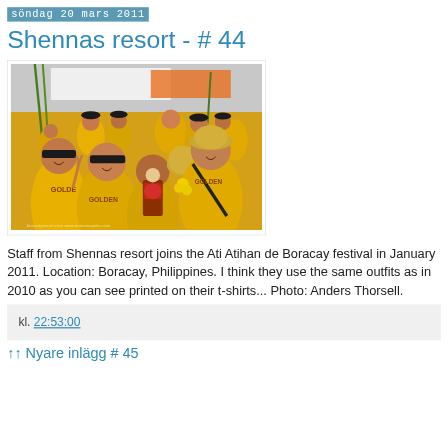söndag 20 mars 2011
Shennas resort - # 44
[Figure (photo): Group of people wearing yellow t-shirts and black caps participating in the Ati Atihan de Boracay festival. One person holds a small religious figurine decorated with flowers. They are marching outdoors with banners visible in the background.]
Staff from Shennas resort joins the Ati Atihan de Boracay festival in January 2011. Location: Boracay, Philippines. I think they use the same outfits as in 2010 as you can see printed on their t-shirts... Photo: Anders Thorsell.
kl. 22:53:00